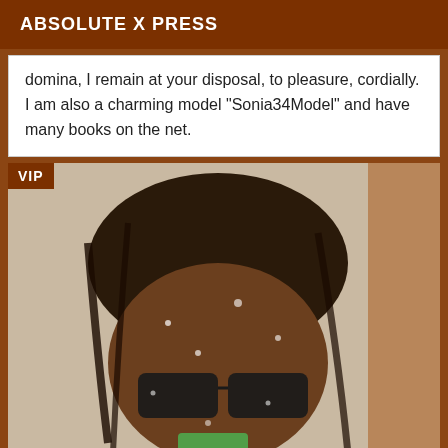ABSOLUTE X PRESS
domina, I remain at your disposal, to pleasure, cordially. I am also a charming model "Sonia34Model" and have many books on the net.
[Figure (photo): Close-up photo of a person with dark hair and glasses taking a selfie, with a VIP badge overlay in the top-left corner]